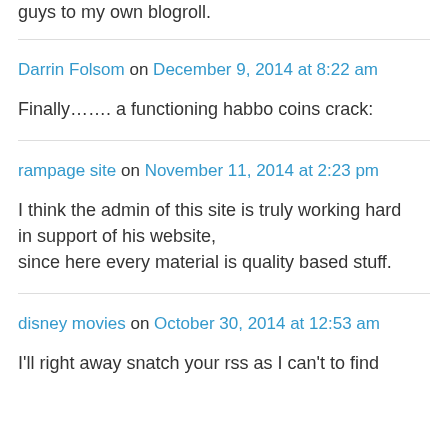guys to my own blogroll.
Darrin Folsom on December 9, 2014 at 8:22 am
Finally……. a functioning habbo coins crack:
rampage site on November 11, 2014 at 2:23 pm
I think the admin of this site is truly working hard in support of his website, since here every material is quality based stuff.
disney movies on October 30, 2014 at 12:53 am
I'll right away snatch your rss as I can't to find